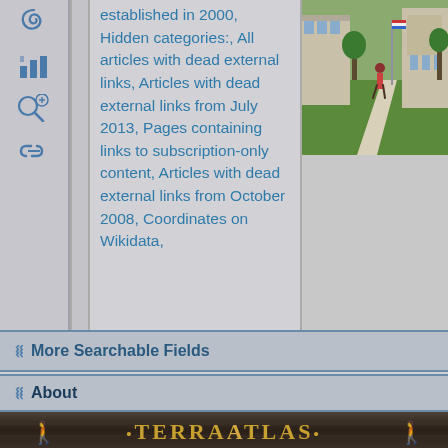[Figure (screenshot): Left sidebar with navigation icons: spiral/tools icon, bar chart icon, magnifier icon with plus, and link/chain icon]
established in 2000, Hidden categories:, All articles with dead external links, Articles with dead external links from July 2013, Pages containing links to subscription-only content, Articles with dead external links from October 2008, Coordinates on Wikidata,
[Figure (photo): Outdoor campus photo showing a person walking on a path next to a building with green lawn]
✓ More Searchable Fields
✓ About
[Figure (logo): TerraAtlas logo banner with gold text on dark stone-like background with decorative figures on each side]